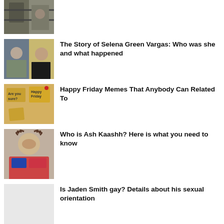[Figure (photo): Partial top image, cropped, showing a person on a balcony or staircase]
[Figure (photo): Two-photo collage: couple portrait left, woman in black dress selfie right]
The Story of Selena Green Vargas: Who was she and what happened
[Figure (photo): Sticky notes on a wall, one reads 'Happy Friday']
Happy Friday Memes That Anybody Can Related To
[Figure (photo): Young woman with curly hair, selfie-style portrait]
Who is Ash Kaashh? Here is what you need to know
[Figure (photo): Light gray placeholder thumbnail]
Is Jaden Smith gay? Details about his sexual orientation
[Figure (photo): Light gray placeholder thumbnail]
The Murals Of The Denver Airport That Have An Unearthly Feeling